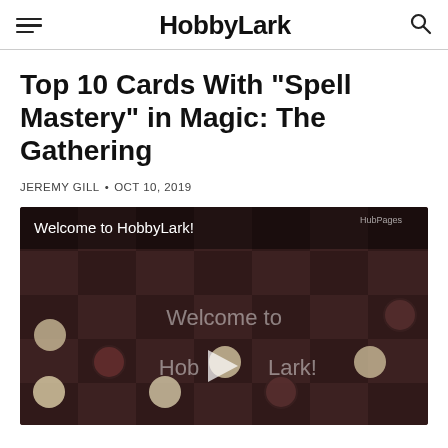HobbyLark
Top 10 Cards With "Spell Mastery" in Magic: The Gathering
JEREMY GILL • OCT 10, 2019
[Figure (screenshot): Video thumbnail showing a checkers board game with pieces, overlaid with text 'Welcome to HobbyLark!' and a play button in the center. HubPages watermark in top right corner.]